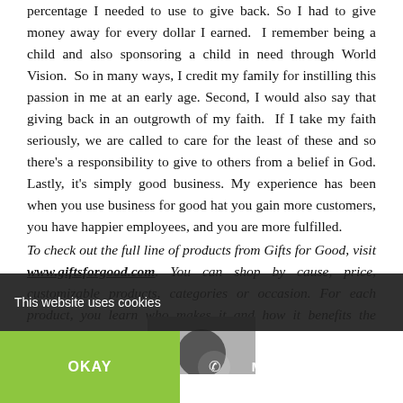percentage I needed to use to give back. So I had to give money away for every dollar I earned. I remember being a child and also sponsoring a child in need through World Vision. So in many ways, I credit my family for instilling this passion in me at an early age. Second, I would also say that giving back in an outgrowth of my faith. If I take my faith seriously, we are called to care for the least of these and so there's a responsibility to give to others from a belief in God. Lastly, it's simply good business. My experience has been when you use business for good hat you gain more customers, you have happier employees, and you are more fulfilled.
To check out the full line of products from Gifts for Good, visit www.giftsforgood.com. You can shop by cause, price, customizable products, categories or occasion. For each product, you learn who makes it and how it benefits the organization.
[Figure (photo): Partial photo of a person, partially obscured by cookie consent overlay]
This website uses cookies
OKAY
MORE INFO